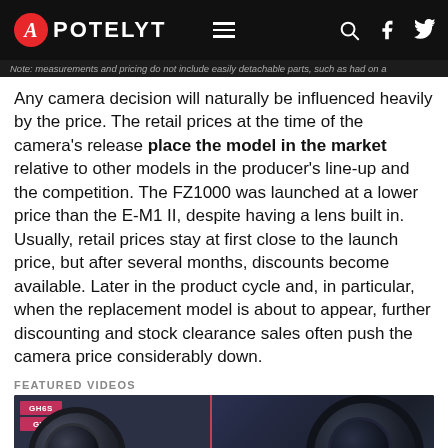APOTELYT
Note: measurements and pricing do not include easily detachable parts, such as had on a
Any camera decision will naturally be influenced heavily by the price. The retail prices at the time of the camera's release place the model in the market relative to other models in the producer's line-up and the competition. The FZ1000 was launched at a lower price than the E-M1 II, despite having a lens built in. Usually, retail prices stay at first close to the launch price, but after several months, discounts become available. Later in the product cycle and, in particular, when the replacement model is about to appear, further discounting and stock clearance sales often push the camera price considerably down.
FEATURED VIDEOS
[Figure (photo): Video thumbnail showing two camera lenses side by side with a CHEAP tag on the left and morus text on the right]